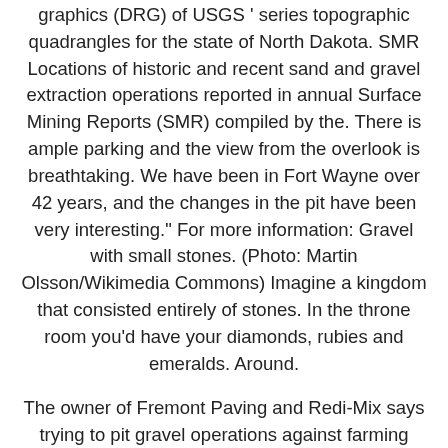graphics (DRG) of USGS ' series topographic quadrangles for the state of North Dakota. SMR Locations of historic and recent sand and gravel extraction operations reported in annual Surface Mining Reports (SMR) compiled by the. There is ample parking and the view from the overlook is breathtaking. We have been in Fort Wayne over 42 years, and the changes in the pit have been very interesting." For more information: Gravel with small stones. (Photo: Martin Olsson/Wikimedia Commons) Imagine a kingdom that consisted entirely of stones. In the throne room you'd have your diamonds, rubies and emeralds. Around.
The owner of Fremont Paving and Redi-Mix says trying to pit gravel operations against farming seems to be a popular misconception among some who live east of Pueblo between the St. Charles Mesa. Fort